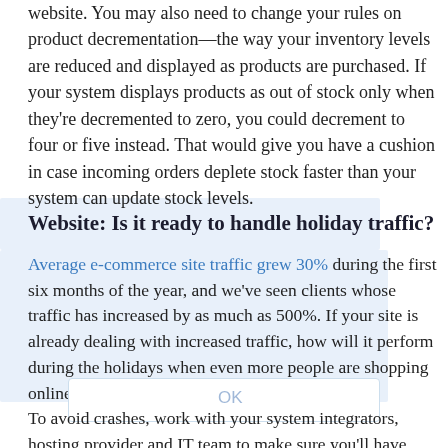website. You may also need to change your rules on product decrementation—the way your inventory levels are reduced and displayed as products are purchased. If your system displays products as out of stock only when they're decremented to zero, you could decrement to four or five instead. That would give you have a cushion in case incoming orders deplete stock faster than your system can update stock levels.
Website: Is it ready to handle holiday traffic?
Average e-commerce site traffic grew 30% during the first six months of the year, and we've seen clients whose traffic has increased by as much as 500%. If your site is already dealing with increased traffic, how will it perform during the holidays when even more people are shopping online?
To avoid crashes, work with your system integrators, hosting provider and IT team to make sure you'll have